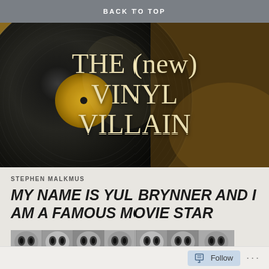BACK TO TOP
[Figure (illustration): Website banner image showing a close-up of a vinyl record with large text overlay reading 'THE (new) VINYL VILLAIN']
STEPHEN MALKMUS
MY NAME IS YUL BRYNNER AND I AM A FAMOUS MOVIE STAR
[Figure (photo): A horizontal strip of repeated black and white cat face photographs]
Follow